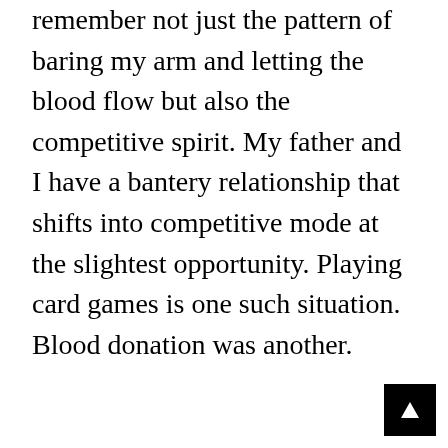remember not just the pattern of baring my arm and letting the blood flow but also the competitive spirit. My father and I have a bantery relationship that shifts into competitive mode at the slightest opportunity. Playing card games is one such situation. Blood donation was another.
[Figure (other): Back to top button — black square with a white upward arrow icon, positioned at bottom right corner of the page.]